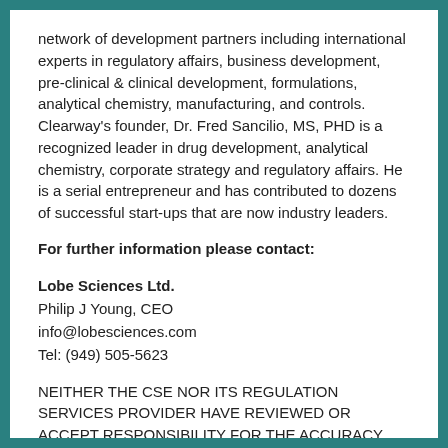network of development partners including international experts in regulatory affairs, business development, pre-clinical & clinical development, formulations, analytical chemistry, manufacturing, and controls. Clearway's founder, Dr. Fred Sancilio, MS, PHD is a recognized leader in drug development, analytical chemistry, corporate strategy and regulatory affairs. He is a serial entrepreneur and has contributed to dozens of successful start-ups that are now industry leaders.
For further information please contact:
Lobe Sciences Ltd.
Philip J Young, CEO
info@lobesciences.com
Tel: (949) 505-5623
NEITHER THE CSE NOR ITS REGULATION SERVICES PROVIDER HAVE REVIEWED OR ACCEPT RESPONSIBILITY FOR THE ACCURACY